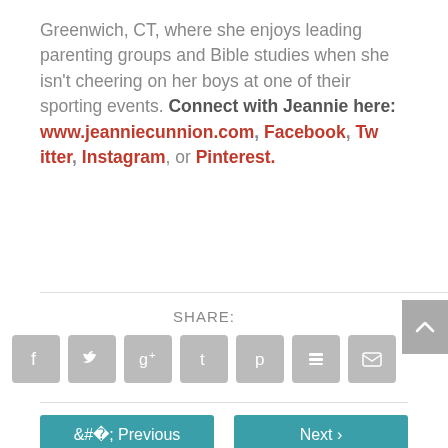Greenwich, CT, where she enjoys leading parenting groups and Bible studies when she isn't cheering on her boys at one of their sporting events. Connect with Jeannie here: www.jeanniecunnion.com, Facebook, Twitter, Instagram, or Pinterest.
SHARE:
[Figure (infographic): Social share icons: Facebook, Twitter, Google+, Tumblr, Pinterest, Buffer/Layers, Email]
Previous | Next navigation buttons